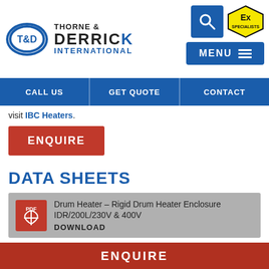[Figure (logo): Thorne & Derrick International logo with T&D oval emblem, company name, search button, Ex Specialists badge, and MENU button]
[Figure (screenshot): Blue navigation bar with CALL US, GET QUOTE, CONTACT buttons]
visit IBC Heaters.
ENQUIRE
DATA SHEETS
Drum Heater – Rigid Drum Heater Enclosure IDR/200L/230V & 400V DOWNLOAD
ENQUIRE